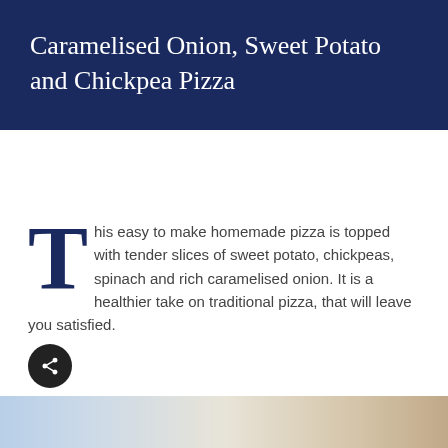Caramelised Onion, Sweet Potato and Chickpea Pizza
This easy to make homemade pizza is topped with tender slices of sweet potato, chickpeas, spinach and rich caramelised onion. It is a healthier take on traditional pizza, that will leave you satisfied.
[Figure (photo): Partial image of a pizza at the bottom of the page]